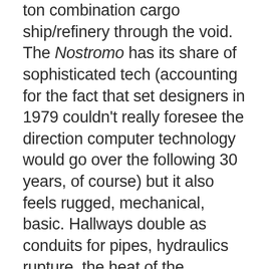ton combination cargo ship/refinery through the void. The Nostromo has its share of sophisticated tech (accounting for the fact that set designers in 1979 couldn't really foresee the direction computer technology would go over the following 30 years, of course) but it also feels rugged, mechanical, basic. Hallways double as conduits for pipes, hydraulics rupture, the heat of the smelters creates condensation that drips into the storage and cargo areas.
Alien works so effectively because it goes to painstaking lengths to make everything about its far-flung future